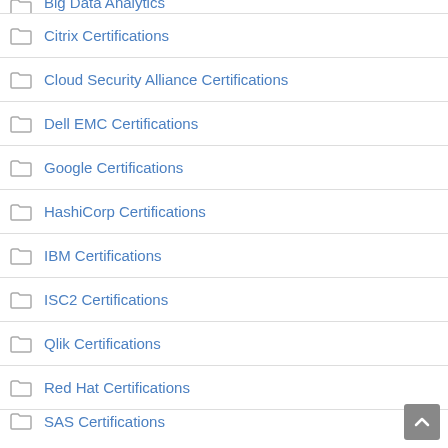Big Data Analytics
Citrix Certifications
Cloud Security Alliance Certifications
Dell EMC Certifications
Google Certifications
HashiCorp Certifications
IBM Certifications
ISC2 Certifications
Qlik Certifications
Red Hat Certifications
SAS Certifications